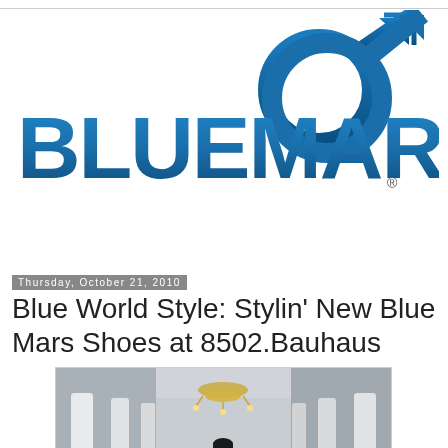[Figure (logo): Blue Mars logo with male/Mars symbol arrow in blue gradient and BLUEMARS text in bold blue letters with registered trademark symbol]
Thursday, October 21, 2010
Blue World Style: Stylin' New Blue Mars Shoes at 8502.Bauhaus
[Figure (screenshot): 3D virtual world screenshot showing a hallway with white columns, a chandelier, a female avatar in a white top and red skirt standing in the center, and furniture visible on the right side]